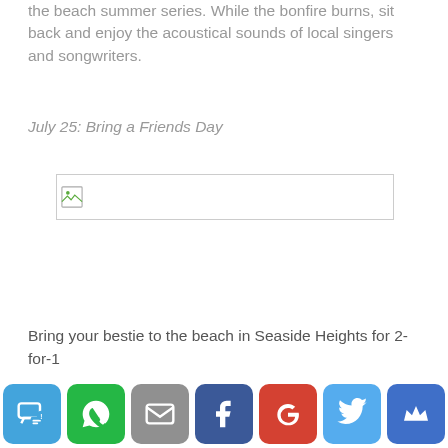the beach summer series. While the bonfire burns, sit back and enjoy the acoustical sounds of local singers and songwriters.
July 25: Bring a Friends Day
[Figure (photo): Broken/missing image placeholder with small icon]
Bring your bestie to the beach in Seaside Heights for 2-for-1